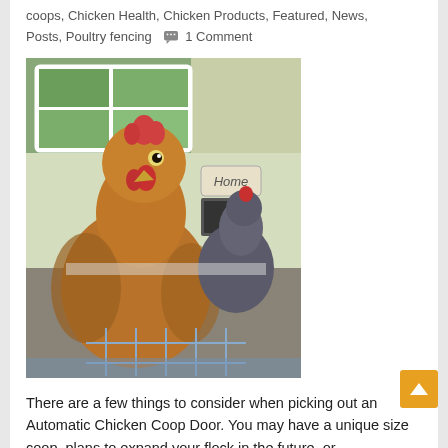coops, Chicken Health, Chicken Products, Featured, News, Posts, Poultry fencing  💬 1 Comment
[Figure (photo): A brown hen in the foreground looking at the camera, with another darker chicken and a chicken coop door visible in the background. A small 'Home' sign is on the yellow coop wall.]
There are a few things to consider when picking out an Automatic Chicken Coop Door. You may have a unique size coop, plans to expand your flock in the future, or